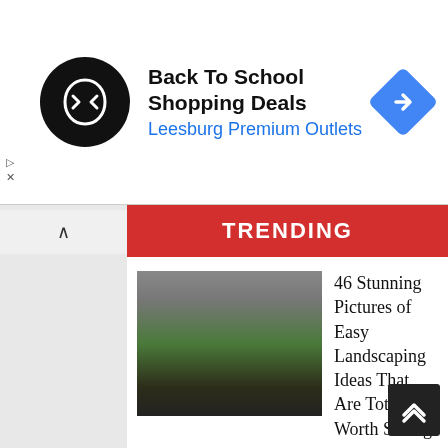[Figure (other): Advertisement banner: Back To School Shopping Deals at Leesburg Premium Outlets, with a black circular logo with double arrow symbol and a blue diamond navigation icon on the right]
TRENDING
[Figure (photo): Garden landscaping photo showing green shrubs and pink flowers in dark mulch along a patio edge]
46 Stunning Pictures of Easy Landscaping Ideas That Are Totally Worth Seeing
[Figure (photo): Bathroom photo showing a white bathtub and shower combination with white walls]
38 Elegant Bathtub Shower Combo Designs That You Haven't